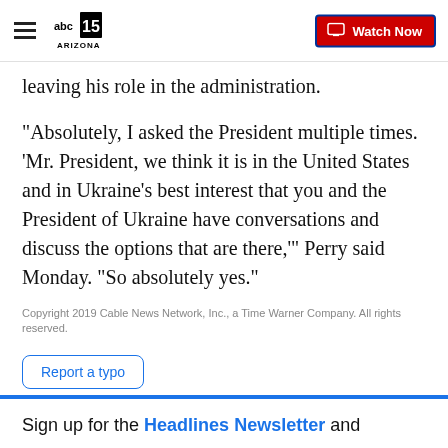ABC15 Arizona | Watch Now
leaving his role in the administration.
"Absolutely, I asked the President multiple times. 'Mr. President, we think it is in the United States and in Ukraine's best interest that you and the President of Ukraine have conversations and discuss the options that are there,'" Perry said Monday. "So absolutely yes."
Copyright 2019 Cable News Network, Inc., a Time Warner Company. All rights reserved.
Report a typo
Sign up for the Headlines Newsletter and